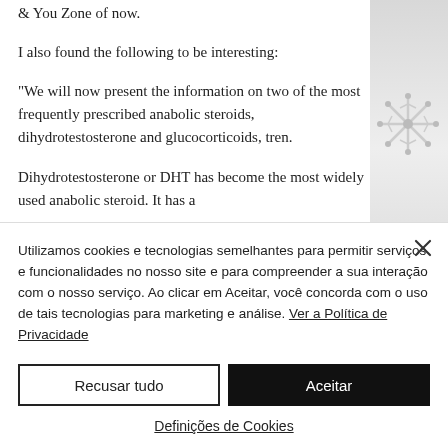& You Zone of now.
I also found the following to be interesting:
"We will now present the information on two of the most frequently prescribed anabolic steroids, dihydrotestosterone and glucocorticoids, tren.
Dihydrotestosterone or DHT has become the most widely used anabolic steroid. It has a
[Figure (photo): Decorative snowflake image on grey background, partially visible on the right side of the page]
Utilizamos cookies e tecnologias semelhantes para permitir serviços e funcionalidades no nosso site e para compreender a sua interação com o nosso serviço. Ao clicar em Aceitar, você concorda com o uso de tais tecnologias para marketing e análise. Ver a Política de Privacidade
Recusar tudo
Aceitar
Definições de Cookies